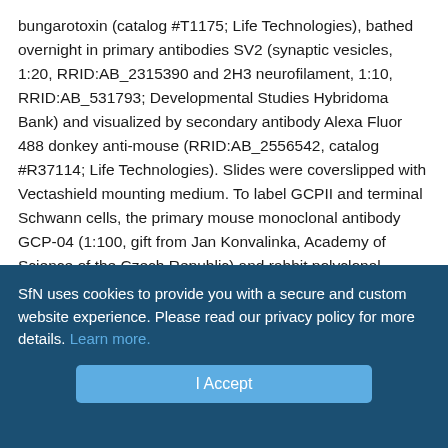bungarotoxin (catalog #T1175; Life Technologies), bathed overnight in primary antibodies SV2 (synaptic vesicles, 1:20, RRID:AB_2315390 and 2H3 neurofilament, 1:10, RRID:AB_531793; Developmental Studies Hybridoma Bank) and visualized by secondary antibody Alexa Fluor 488 donkey anti-mouse (RRID:AB_2556542, catalog #R37114; Life Technologies). Slides were coverslipped with Vectashield mounting medium. To label GCPII and terminal Schwann cells, the primary mouse monoclonal antibody GCP-04 (1:100, gift from Jan Konvalinka, Academy of Science of the Czech Republic) and rabbit polyclonal antibody S100 (1:250, DAKO), respectively, were used. Primary antibodies were visualized by the appropriate Alexa Fluor 488 (1:200) and 568 (1:100) secondary antibodies (Life Technologies).
SfN uses cookies to provide you with a secure and custom website experience. Please read our privacy policy for more details. Learn more.